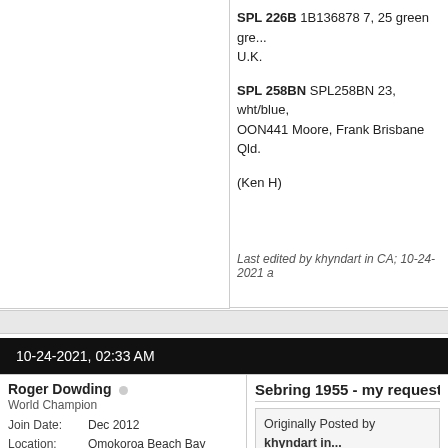SPL 226B 1B136878 7, 25 green gre... U.K.
SPL 258BN SPL258BN 23, wht/blue, OON441 Moore, Frank Brisbane Qld.
(Ken H)
Last edited by khyndart in CA; 10-24-2021 a
10-24-2021, 02:33 AM
Roger Dowding
World Champion
Join Date: Dec 2012
Location: Omokoroa Beach Bay of Plenty NZ
Posts: 3,362
Sebring 1955 - my request / ques...
Originally Posted by khyndart in...
Yes Milon, you are correct.
The Macklin car was involved...
His car at LeMans was chassis...
The car # 44 at Sebring was ch...